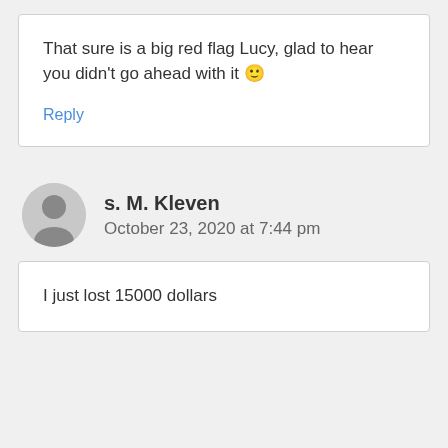That sure is a big red flag Lucy, glad to hear you didn't go ahead with it 🙂
Reply
s. M. Kleven
October 23, 2020 at 7:44 pm
I just lost 15000 dollars